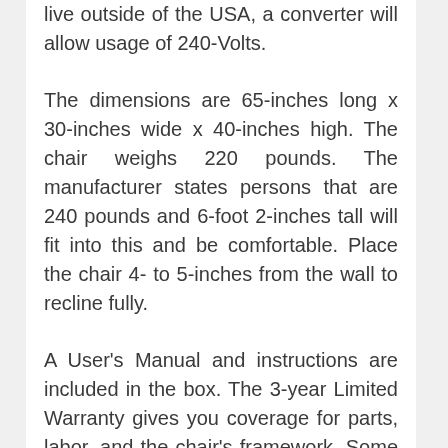live outside of the USA, a converter will allow usage of 240-Volts.
The dimensions are 65-inches long x 30-inches wide x 40-inches high. The chair weighs 220 pounds. The manufacturer states persons that are 240 pounds and 6-foot 2-inches tall will fit into this and be comfortable. Place the chair 4- to 5-inches from the wall to recline fully.
A User's Manual and instructions are included in the box. The 3-year Limited Warranty gives you coverage for parts, labor, and the chair's framework. Some assembly is required. The chair is made in